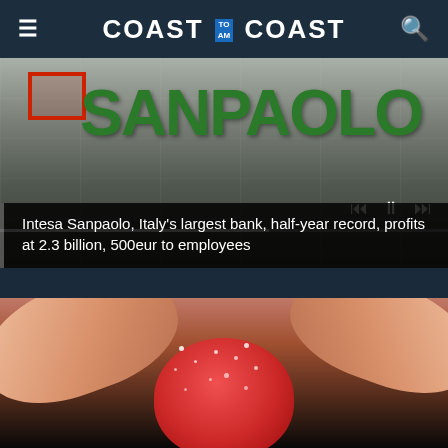COAST TO AM COAST
[Figure (screenshot): Video thumbnail showing Sanpaolo bank signage with playback controls and progress bar]
Intesa Sanpaolo, Italy’s largest bank, half-year record, profits at 2.3 billion, 500eur to employees
[Figure (photo): Close-up photo of fingers holding a red sugary gummy candy]